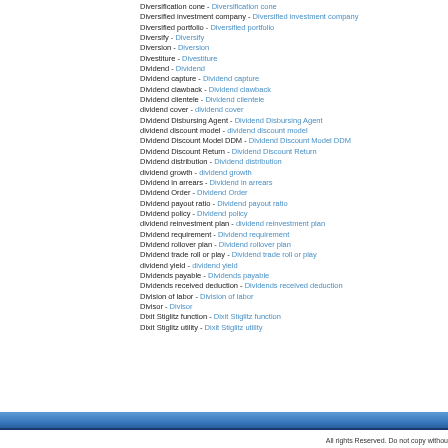Diversification cone - Diversification cone
Diversified investment company - Diversified investment company
Diversified portfolio - Diversified portfolio
Diversify - Diversify
Diversion - Diversion
Divestiture - Divestiture
Dividend - Dividend
Dividend capture - Dividend capture
Dividend clawback - Dividend clawback
Dividend clientele - Dividend clientele
dividend cover - dividend cover
Dividend Disbursing Agent - Dividend Disbursing Agent
dividend discount model - dividend discount model
Dividend Discount Model DDM - Dividend Discount Model DDM
Dividend Discount Return - Dividend Discount Return
Dividend distribution - Dividend distribution
dividend growth - dividend growth
Dividend in arrears - Dividend in arrears
Dividend Order - Dividend Order
Dividend payout ratio - Dividend payout ratio
Dividend policy - Dividend policy
dividend reinvestment plan - dividend reinvestment plan
Dividend requirement - Dividend requirement
Dividend rollover plan - Dividend rollover plan
Dividend trade roll or play - Dividend trade roll or play
dividend yield - dividend yield
Dividends payable - Dividends payable
Dividends received deduction - Dividends received deduction
Division of labor - Division of labor
Divisor - Divisor
Dixit Stiglitz function - Dixit Stiglitz function
Dixit Stiglitz utility - Dixit Stiglitz utility
All rights Reserved. Do not copy withou